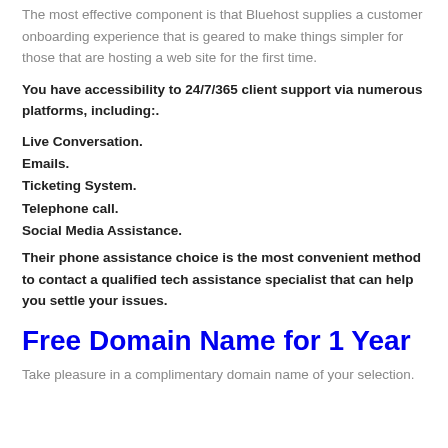The most effective component is that Bluehost supplies a customer onboarding experience that is geared to make things simpler for those that are hosting a web site for the first time.
You have accessibility to 24/7/365 client support via numerous platforms, including:.
Live Conversation.
Emails.
Ticketing System.
Telephone call.
Social Media Assistance.
Their phone assistance choice is the most convenient method to contact a qualified tech assistance specialist that can help you settle your issues.
Free Domain Name for 1 Year
Take pleasure in a complimentary domain name of your selection.